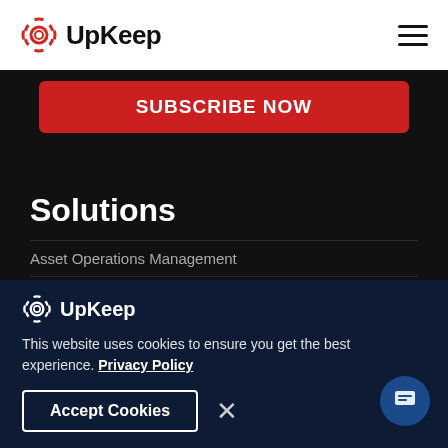UpKeep (logo + hamburger menu)
Subscribe Now
Solutions
Asset Operations Management
CMMS
Enterprise Asset Management
[Figure (logo): UpKeep gear logo in white]
This website uses cookies to ensure you get the best experience. Privacy Policy
Accept Cookies